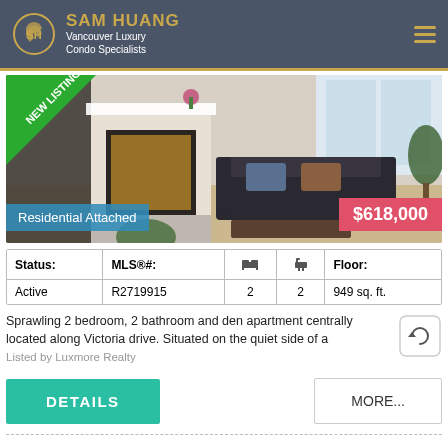SAM HUANG Vancouver Luxury Condo Specialists
[Figure (photo): Interior photo of a living room with fireplace, sofa, and plants. New Listing badge in top-left corner. Price badge $618,000 in bottom-right. Residential Attached label in bottom-left.]
| Status: | MLS®#: | 🛏 | 🛁 | Floor: |
| --- | --- | --- | --- | --- |
| Active | R2719915 | 2 | 2 | 949 sq. ft. |
Sprawling 2 bedroom, 2 bathroom and den apartment centrally located along Victoria drive. Situated on the quiet side of a
Listed by Luxmore Realty
DETAILS
MORE...